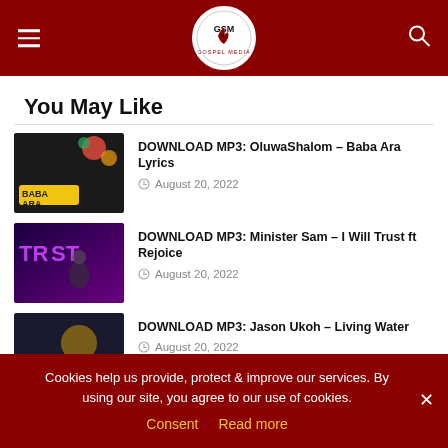GSM Gospel Media
You May Like
DOWNLOAD MP3: OluwaShalom – Baba Ara Lyrics
August 20, 2022
DOWNLOAD MP3: Minister Sam – I Will Trust ft Rejoice
August 20, 2022
DOWNLOAD MP3: Jason Ukoh – Living Water
August 20, 2022
Cookies help us provide, protect & improve our services. By using our site, you agree to our use of cookies.
Consent  Read more